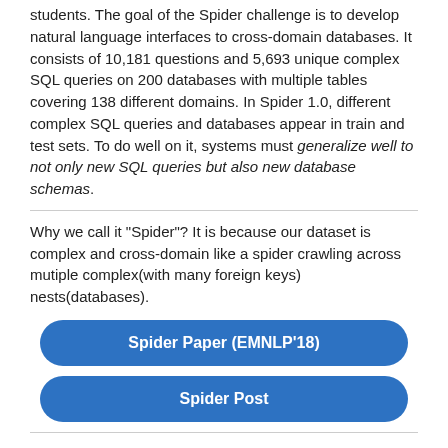students. The goal of the Spider challenge is to develop natural language interfaces to cross-domain databases. It consists of 10,181 questions and 5,693 unique complex SQL queries on 200 databases with multiple tables covering 138 different domains. In Spider 1.0, different complex SQL queries and databases appear in train and test sets. To do well on it, systems must generalize well to not only new SQL queries but also new database schemas.
Why we call it "Spider"? It is because our dataset is complex and cross-domain like a spider crawling across mutiple complex(with many foreign keys) nests(databases).
Spider Paper (EMNLP'18)
Spider Post
Related challenges: UnifiedSKG, multi-turn SParC and conversational CoSQL text-to-SQL tasks.